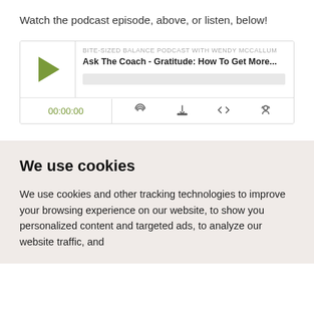Watch the podcast episode, above, or listen, below!
[Figure (screenshot): Podcast player widget for 'Ask The Coach - Gratitude: How To Get More...' from Bite-Sized Balance Podcast with Wendy McCallum. Shows play button, episode title, progress bar, time display 00:00:00, and control icons.]
We use cookies
We use cookies and other tracking technologies to improve your browsing experience on our website, to show you personalized content and targeted ads, to analyze our website traffic, and